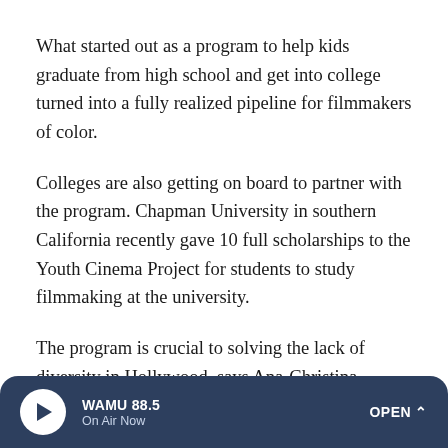What started out as a program to help kids graduate from high school and get into college turned into a fully realized pipeline for filmmakers of color.
Colleges are also getting on board to partner with the program. Chapman University in southern California recently gave 10 full scholarships to the Youth Cinema Project for students to study filmmaking at the university.
The program is crucial to solving the lack of diversity in Hollywood, says Ana-Christina Ramón, director of research and civic engagement for the Division of Social Sciences at UCLA and a co-author of the Hollywood Diversity Report every year. The report is widely read in the industry and
WAMU 88.5 On Air Now OPEN